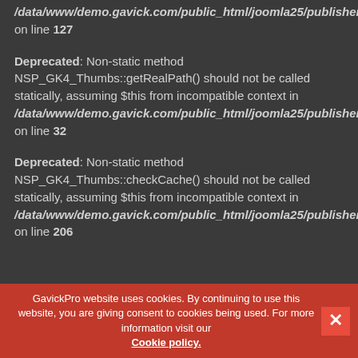/data/www/demo.gavick.com/public_html/joomla25/publisher/modules/mod_news_pro_gk4/gk_classes/gk.thumbs.php on line 127
Deprecated: Non-static method NSP_GK4_Thumbs::getRealPath() should not be called statically, assuming $this from incompatible context in /data/www/demo.gavick.com/public_html/joomla25/publisher/modules/mod_news_pro_gk4/gk_classes/gk.thumbs.php on line 32
Deprecated: Non-static method NSP_GK4_Thumbs::checkCache() should not be called statically, assuming $this from incompatible context in /data/www/demo.gavick.com/public_html/joomla25/publisher/modules/mod_news_pro_gk4/gk_classes/gk.thumbs.php on line 206
GavickPro website uses cookies. By continuing to use this website, you are giving consent to cookies being used. For more information visit our Cookie policy.